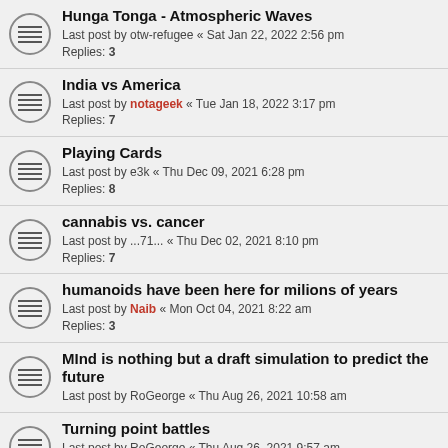Hunga Tonga - Atmospheric Waves
Last post by otw-refugee « Sat Jan 22, 2022 2:56 pm
Replies: 3
India vs America
Last post by notageek « Tue Jan 18, 2022 3:17 pm
Replies: 7
Playing Cards
Last post by e3k « Thu Dec 09, 2021 6:28 pm
Replies: 8
cannabis vs. cancer
Last post by ...71... « Thu Dec 02, 2021 8:10 pm
Replies: 7
humanoids have been here for milions of years
Last post by Naib « Mon Oct 04, 2021 8:22 am
Replies: 3
MInd is nothing but a draft simulation to predict the future
Last post by RoGeorge « Thu Aug 26, 2021 10:58 am
Turning point battles
Last post by RoGeorge « Thu Aug 26, 2021 9:57 am
Replies: 3